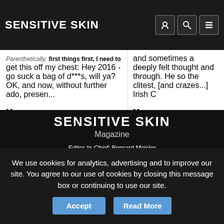Sensitive Skin
Parenthetically, first things first, I need to get this off my chest: Hey 2016 - go suck a bag of d***s, will ya? OK, and now, without further ado, presen...
More...
and sometimes a deeply felt thought and through. He so the clitest, [and crazes...] Irish C
More...
Sensitive Skin
Magazine
Editor-In-Chief: Bernard Meisler
Associate Editors: Rob Hardin and B. Kold
Music Editor: Steve Horowitz
Contributing Editors: Ron Kolm,
We use cookies for analytics, advertising and to improve our site. You agree to our use of cookies by closing this message box or continuing to use our site.